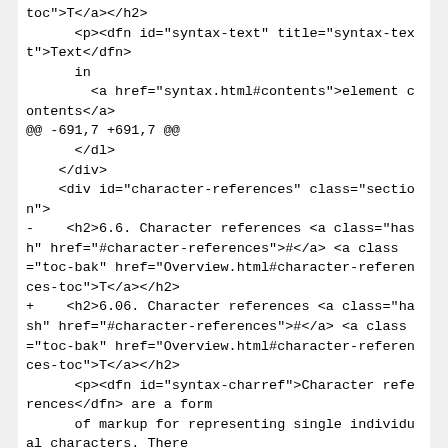toc">T</a></h2>
      <p><dfn id="syntax-text" title="syntax-text">Text</dfn>
      in
        <a href="syntax.html#contents">element contents</a>
@@ -691,7 +691,7 @@
      </dl>
    </div>
    <div id="character-references" class="section">
-    <h2>6.6. Character references <a class="hash" href="#character-references">#</a> <a class="toc-bak" href="Overview.html#character-references-toc">T</a></h2>
+     <h2>6.06. Character references <a class="hash" href="#character-references">#</a> <a class="toc-bak" href="Overview.html#character-references-toc">T</a></h2>
      <p><dfn id="syntax-charref">Character references</dfn> are a form
      of markup for representing single individual characters. There
      are three types of character references:</p>
@@ -796,7 +796,7 @@
      character.</p>
    </div>
    <div id="comments" class="section">
-    <h2>6.7. Comments <a class="hash" href="#comments">#</a> <a class="toc-bak"